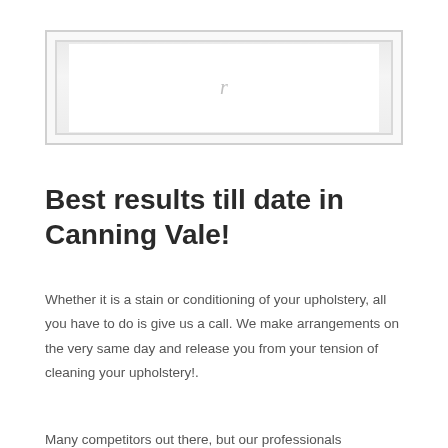[Figure (other): Placeholder image box with a small centered icon, bordered with a light gray frame and white inner area]
Best results till date in Canning Vale!
Whether it is a stain or conditioning of your upholstery, all you have to do is give us a call. We make arrangements on the very same day and release you from your tension of cleaning your upholstery!.
Many competitors out there, but our professionals